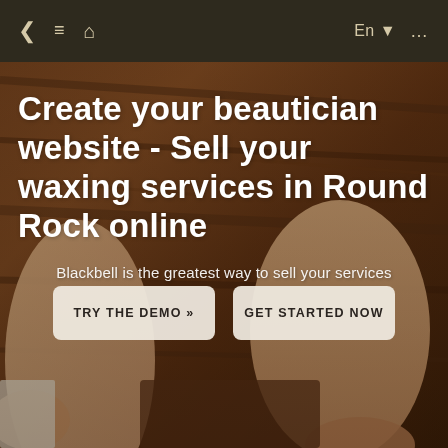< ≡ ⌂   En ▼ ...
Create your beautician website - Sell your waxing services in Round Rock online
Blackbell is the greatest way to sell your services
[Figure (photo): Background photo of woman's legs against wooden wall, spa/beauty theme]
TRY THE DEMO »
GET STARTED NOW